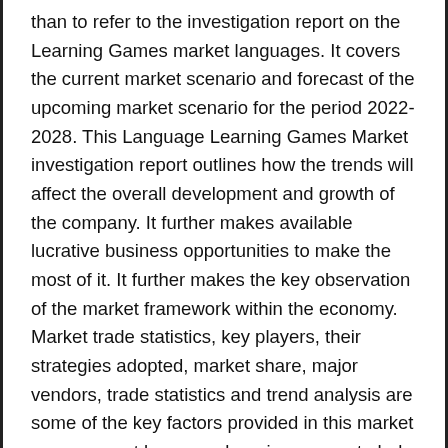than to refer to the investigation report on the Learning Games market languages. It covers the current market scenario and forecast of the upcoming market scenario for the period 2022-2028. This Language Learning Games Market investigation report outlines how the trends will affect the overall development and growth of the company. It further makes available lucrative business opportunities to make the most of it. It further makes the key observation of the market framework within the economy. Market trade statistics, key players, their strategies adopted, market share, major vendors, trade statistics and trend analysis are some of the key factors provided in this market survey report language learning games to help companies make their business profitable and get the best investment. options.
Exact details regarding market performance are also provided in the Language Learning Games Market analysis along with a comprehensive overview of the competitive